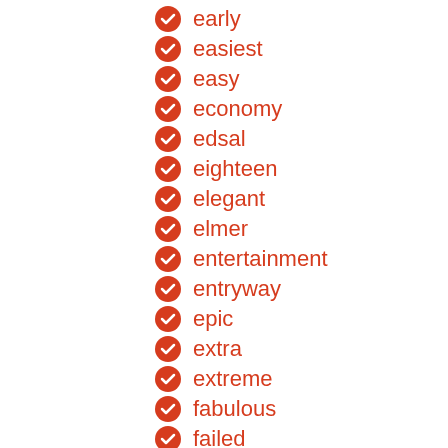early
easiest
easy
economy
edsal
eighteen
elegant
elmer
entertainment
entryway
epic
extra
extreme
fabulous
failed
fantastic
farmhouse
farrow
faux
ferndale